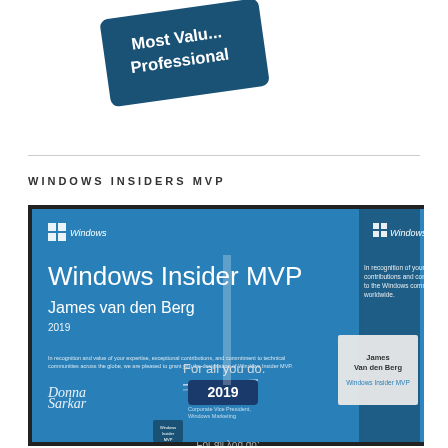[Figure (photo): Microsoft Most Valuable Professional logo badge, blue with white text, tilted at angle]
WINDOWS INSIDERS MVP
[Figure (photo): Photograph of Windows Insider MVP award items for James van den Berg 2019 - includes a blue certificate plaque reading 'Windows Insider MVP James van den Berg 2019', a crystal glass trophy with 'For all you do.' and '2019' on a blue base, and a card holder reading 'James Van den Berg Windows Insider MVP']